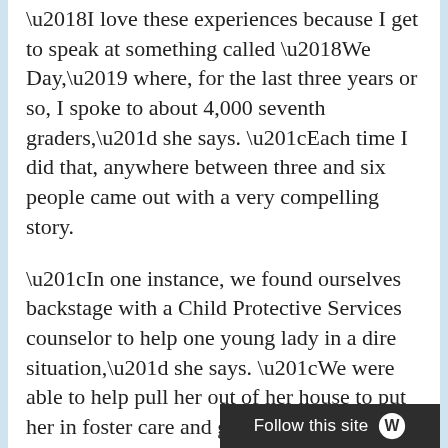I love these experiences because I get to speak at something called ‘We Day,’ where, for the last three years or so, I spoke to about 4,000 seventh graders,” she says. “Each time I did that, anywhere between three and six people came out with a very compelling story.
“In one instance, we found ourselves backstage with a Child Protective Services counselor to help one young lady in a dire situation,” she says. “We were able to help pull her out of her house to put her in foster care and get her away from her stepfather, who was actively sleeping with this 12-year-old girl. So I feel like we’re anointed for that. This is not an avenue that we picked because it was popular. But it was something that we were graced for. So I feel like we’re change- makers, game-changers and cycle-breakers.”